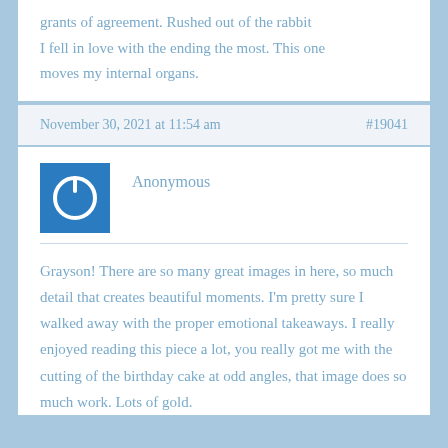grants of agreement. Rushed out of the rabbit I fell in love with the ending the most. This one moves my internal organs.
November 30, 2021 at 11:54 am  #19041
[Figure (logo): Blue square with white power button icon (circle with a line at top)]
Anonymous
Grayson! There are so many great images in here, so much detail that creates beautiful moments. I'm pretty sure I walked away with the proper emotional takeaways. I really enjoyed reading this piece a lot, you really got me with the cutting of the birthday cake at odd angles, that image does so much work. Lots of gold.